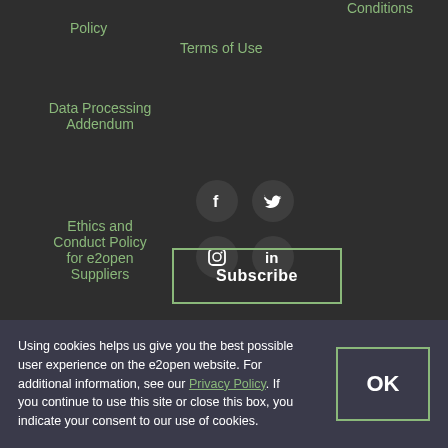Policy
Terms of Use
Conditions
Data Processing Addendum
Ethics and Conduct Policy for e2open Suppliers
[Figure (infographic): Social media icons: Facebook (f), Twitter (bird), Instagram (camera), LinkedIn (in) in dark circular buttons]
[Figure (infographic): Subscribe button with green border]
Using cookies helps us give you the best possible user experience on the e2open website. For additional information, see our Privacy Policy. If you continue to use this site or close this box, you indicate your consent to our use of cookies.
[Figure (infographic): OK button with green border]